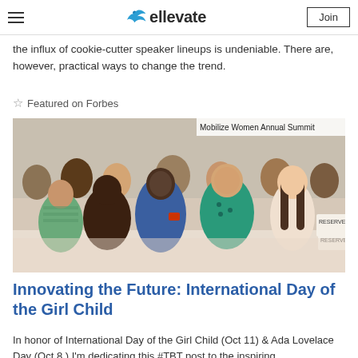ellevate — Join
the influx of cookie-cutter speaker lineups is undeniable. There are, however, practical ways to change the trend.
☆ Featured on Forbes
[Figure (photo): Group photo of women smiling at the Mobilize Women Annual Summit event, including a woman in a blue NASA-style jumpsuit, a woman in a teal/green blazer, and other attendees seated.]
Mobilize Women Annual Summit
Innovating the Future: International Day of the Girl Child
In honor of International Day of the Girl Child (Oct 11) & Ada Lovelace Day (Oct 8,) I'm dedicating this #TBT post to the inspiring